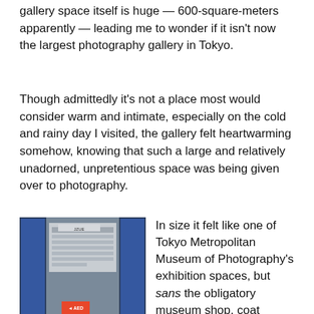gallery space itself is huge — 600-square-meters apparently — leading me to wonder if it isn't now the largest photography gallery in Tokyo.
Though admittedly it's not a place most would consider warm and intimate, especially on the cold and rainy day I visited, the gallery felt heartwarming somehow, knowing that such a large and relatively unadorned, unpretentious space was being given over to photography.
[Figure (photo): Exterior entrance of a building with blue door frame and panels, showing a notice board with papers, an AED sign, and a security box mounted on the door.]
In size it felt like one of Tokyo Metropolitan Museum of Photography's exhibition spaces, but sans the obligatory museum shop, coat check, silent black-suited watchers making sure you don't touch anything, and most importantly, any admission charge, much more relaxing.